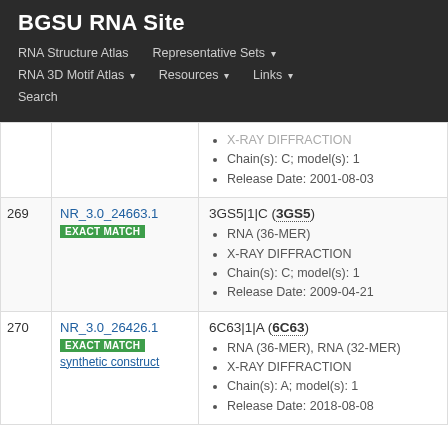BGSU RNA Site
RNA Structure Atlas
Representative Sets
RNA 3D Motif Atlas
Resources
Links
Search
| # | ID | Details |
| --- | --- | --- |
|  |  | X-RAY DIFFRACTION
Chain(s): C; model(s): 1
Release Date: 2001-08-03 |
| 269 | NR_3.0_24663.1
EXACT MATCH | 3GS5|1|C (3GS5)
RNA (36-MER)
X-RAY DIFFRACTION
Chain(s): C; model(s): 1
Release Date: 2009-04-21 |
| 270 | NR_3.0_26426.1
EXACT MATCH
synthetic construct | 6C63|1|A (6C63)
RNA (36-MER), RNA (32-MER)
X-RAY DIFFRACTION
Chain(s): A; model(s): 1
Release Date: 2018-08-08 |